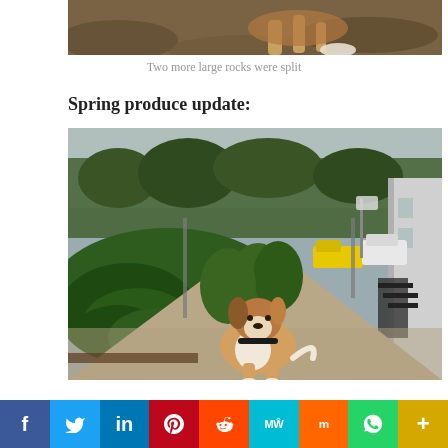[Figure (photo): Partial photo of a dog or animal on dirt/leaves ground, cropped at top]
Two more large rocks were split
Spring produce update:
[Figure (photo): A dog sitting on a gravel path next to a lush garden with green plants and trees in the background, with a yellow vehicle and white SUV visible, and a building on the right]
f  Twitter  in  Pinterest  Reddit  MW  Mix  WhatsApp  More